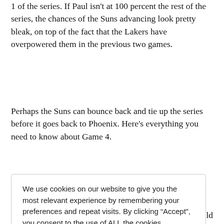1 of the series. If Paul isn't at 100 percent the rest of the series, the chances of the Suns advancing look pretty bleak, on top of the fact that the Lakers have overpowered them in the previous two games.
Perhaps the Suns can bounce back and tie up the series before it goes back to Phoenix. Here's everything you need to know about Game 4.
We use cookies on our website to give you the most relevant experience by remembering your preferences and repeat visits. By clicking “Accept”, you consent to the use of ALL the cookies.
Do not sell my personal information.
Cookie settings  ACCEPT